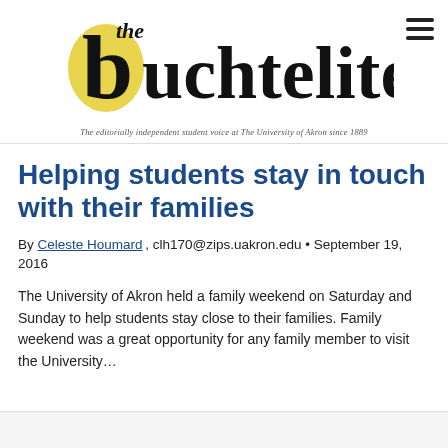[Figure (logo): The Buchtelite newspaper logo with yellow circle and serif text, tagline below reading 'The editorially independent student voice at The University of Akron since 1889']
Helping students stay in touch with their families
By Celeste Houmard , clh170@zips.uakron.edu • September 19, 2016
The University of Akron held a family weekend on Saturday and Sunday to help students stay close to their families. Family weekend was a great opportunity for any family member to visit the University…